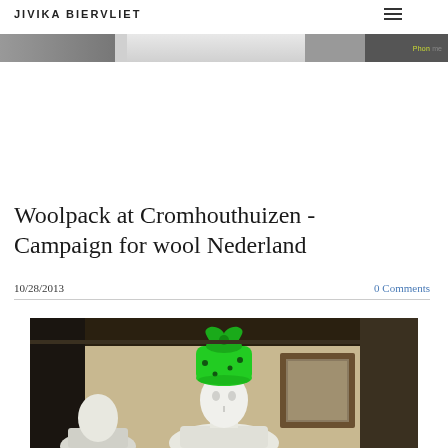JIVIKA BIERVLIET
[Figure (screenshot): Website banner strip showing partial header navigation with gray image sections and text 'Phon me']
Woolpack at Cromhouthuizen - Campaign for wool Nederland
10/28/2013
0 Comments
[Figure (photo): A mannequin wearing a bright green woolpack/hat displayed in an ornate interior room with framed paintings on wallpapered walls]